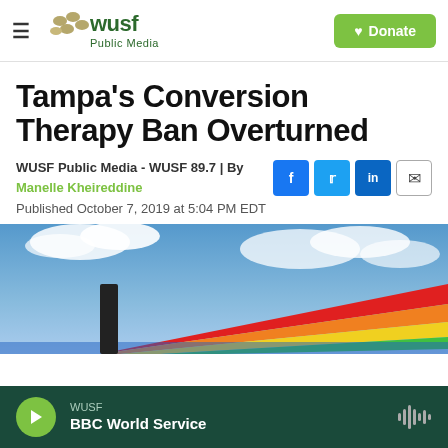WUSF Public Media — hamburger menu, WUSF logo, Donate button
Tampa's Conversion Therapy Ban Overturned
WUSF Public Media - WUSF 89.7 | By Manelle Kheireddine
Published October 7, 2019 at 5:04 PM EDT
[Figure (photo): Rainbow flag waving against blue sky with clouds]
WUSF · BBC World Service — audio player bar with play button and sound wave icon